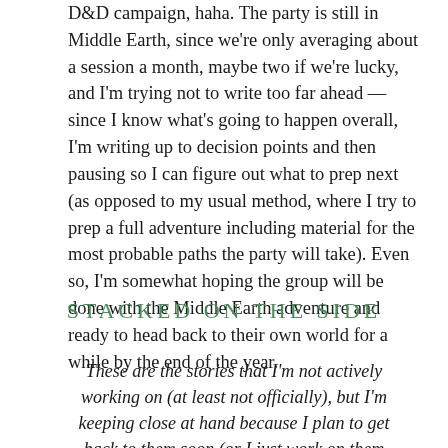D&D campaign, haha. The party is still in Middle Earth, since we're only averaging about a session a month, maybe two if we're lucky, and I'm trying not to write too far ahead — since I know what's going to happen overall, I'm writing up to decision points and then pausing so I can figure out what to prep next (as opposed to my usual method, where I try to prep a full adventure including material for the most probable paths the party will take). Even so, I'm somewhat hoping the group will be done with the Middle Earth adventure and ready to head back to their own world for a while by the end of the year.
STACKED ON THE SIDE
These are the stories that I'm not actively working on (at least not officially), but I'm keeping close at hand because I plan to get back to them soon (or I just work on them